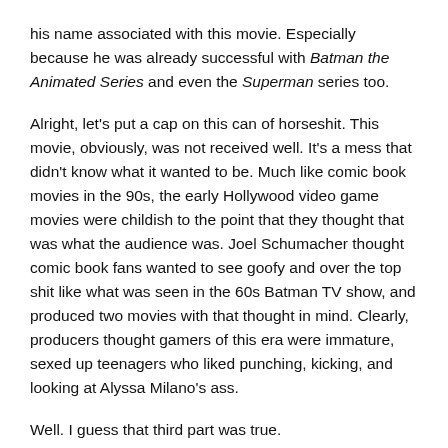his name associated with this movie.  Especially because he was already successful with Batman the Animated Series and even the Superman series too.
Alright, let's put a cap on this can of horseshit.  This movie, obviously, was not received well.  It's a mess that didn't know what it wanted to be.  Much like comic book movies in the 90s, the early Hollywood video game movies were childish to the point that they thought that was what the audience was.  Joel Schumacher thought comic book fans wanted to see goofy and over the top shit like what was seen in the 60s Batman TV show, and produced two movies with that thought in mind.  Clearly, producers thought gamers of this era were immature, sexed up teenagers who liked punching, kicking, and looking at Alyssa Milano's ass.
Well.  I guess that third part was true.